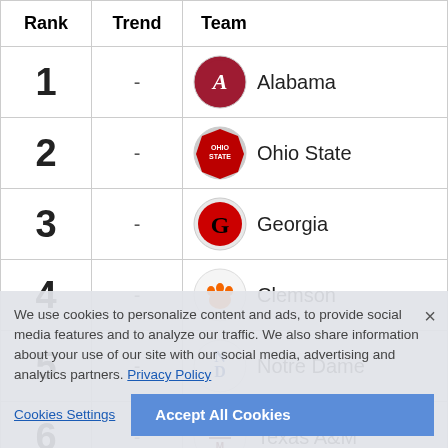| Rank | Trend | Team |
| --- | --- | --- |
| 1 | - | Alabama |
| 2 | - | Ohio State |
| 3 | - | Georgia |
| 4 | - | Clemson |
| 5 | - | Notre Dame |
| 6 | - | Texas A&M |
| 7 | - | Utah |
We use cookies to personalize content and ads, to provide social media features and to analyze our traffic. We also share information about your use of our site with our social media, advertising and analytics partners. Privacy Policy
Cookies Settings | Accept All Cookies